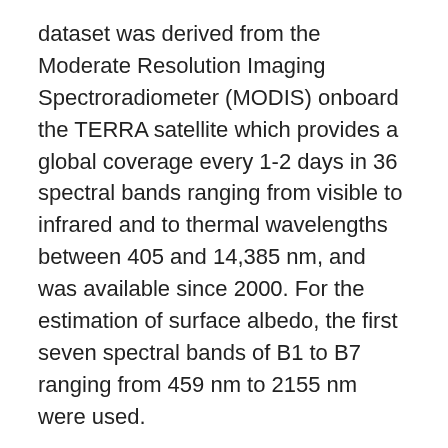dataset was derived from the Moderate Resolution Imaging Spectroradiometer (MODIS) onboard the TERRA satellite which provides a global coverage every 1-2 days in 36 spectral bands ranging from visible to infrared and to thermal wavelengths between 405 and 14,385 nm, and was available since 2000. For the estimation of surface albedo, the first seven spectral bands of B1 to B7 ranging from 459 nm to 2155 nm were used.
Last Updated: Feb. 26, 2022
Date Published: Feb. 19, 2019